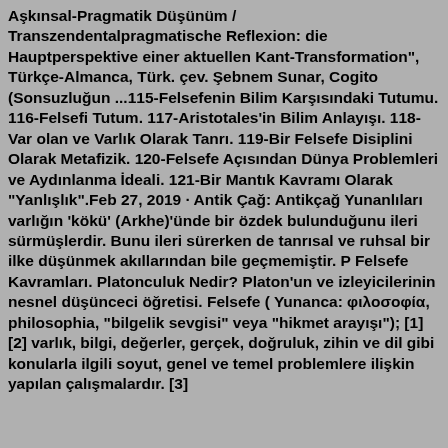Aşkınsal-Pragmatik Düşünüm / Transzendentalpragmatische Reflexion: die Hauptperspektive einer aktuellen Kant-Transformation", Türkçe-Almanca, Türk. çev. Şebnem Sunar, Cogito (Sonsuzluğun ...115-Felsefenin Bilim Karşısındaki Tutumu. 116-Felsefi Tutum. 117-Aristotales'in Bilim Anlayışı. 118-Var olan ve Varlık Olarak Tanrı. 119-Bir Felsefe Disiplini Olarak Metafizik. 120-Felsefe Açısından Dünya Problemleri ve Aydınlanma İdeali. 121-Bir Mantık Kavramı Olarak "Yanlışlık".Feb 27, 2019 · Antik Çağ: Antikçağ Yunanlıları varlığın 'kökü' (Arkhe)'ünde bir özdek bulunduğunu ileri sürmüşlerdir. Bunu ileri sürerken de tanrısal ve ruhsal bir ilke düşünmek akıllarından bile geçmemiştir. P Felsefe Kavramları. Platonculuk Nedir? Platon'un ve izleyicilerinin nesnel düşünceci öğretisi. Felsefe ( Yunanca: φιλοσοφία, philosophia, "bilgelik sevgisi" veya "hikmet arayışı"); [1] [2] varlık, bilgi, değerler, gerçek, doğruluk, zihin ve dil gibi konularla ilgili soyut, genel ve temel problemlere ilişkin yapılan çalışmalardır. [3]